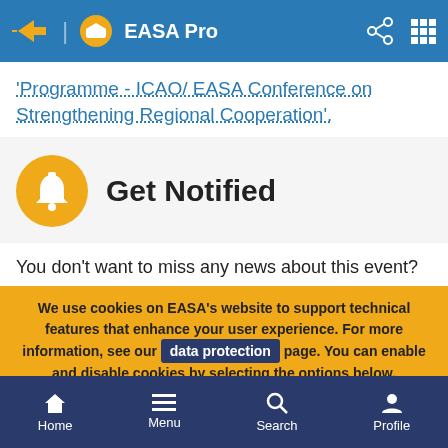EASA Pro
'Programme - ICAO/ EASA Conference on Strengthening Regional Cooperation'.
Get Notified
You don't want to miss any news about this event?
We use cookies on EASA's website to support technical features that enhance your user experience. For more information, see our data protection page. You can enable and disable cookies by selecting the options below.
Mandatory cookies
Analytics
Home  Menu  Search  Profile